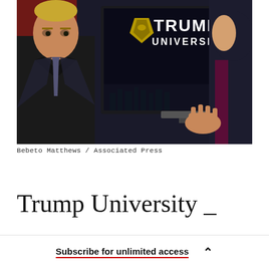[Figure (photo): Photo of Donald Trump standing at a podium beside a large screen displaying the Trump University logo (shield with eagle and text 'TRUMP UNIVERSITY'). A second man in a dark suit gestures with his right hand in the foreground. Setting appears to be an auditorium.]
Bebeto Matthews / Associated Press
Trump University _
What started here 2005, 10 online...
Subscribe for unlimited access